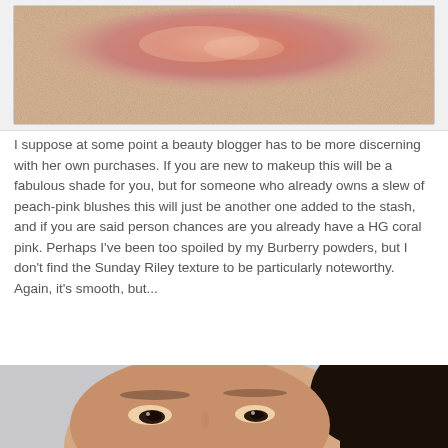[Figure (photo): Close-up photo of a makeup blush swatch on skin, showing a peach-pink shimmery color stripe across a light beige skin tone]
I suppose at some point a beauty blogger has to be more discerning with her own purchases. If you are new to makeup this will be a fabulous shade for you, but for someone who already owns a slew of peach-pink blushes this will just be another one added to the stash, and if you are said person chances are you already have a HG coral pink. Perhaps I've been too spoiled by my Burberry powders, but I don't find the Sunday Riley texture to be particularly noteworthy. Again, it's smooth, but...
[Figure (photo): Close-up portrait photo of an Asian woman's face from eyes to forehead, showing natural makeup, dark eyes, thin eyebrows, and dark hair on a light grey background]